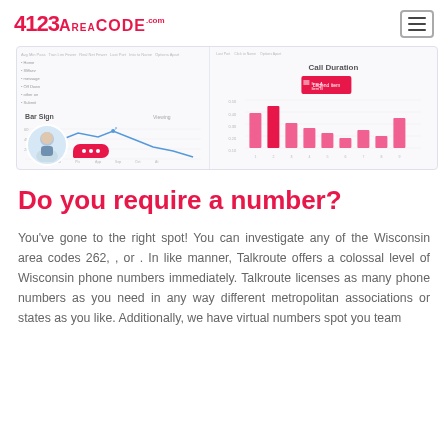123AreaCode.com
[Figure (screenshot): Screenshot of a dashboard interface showing a line chart labeled 'Bar Sign' on the left side with navigation menu items, and a bar chart labeled 'Call Duration' on the right side with pink/magenta bars. An avatar of a man appears in the bottom-left with a pink speech bubble containing three dots.]
Do you require a number?
You've gone to the right spot! You can investigate any of the Wisconsin area codes 262, , or . In like manner, Talkroute offers a colossal level of Wisconsin phone numbers immediately. Talkroute licenses as many phone numbers as you need in any way different metropolitan associations or states as you like. Additionally, we have virtual numbers spot you team